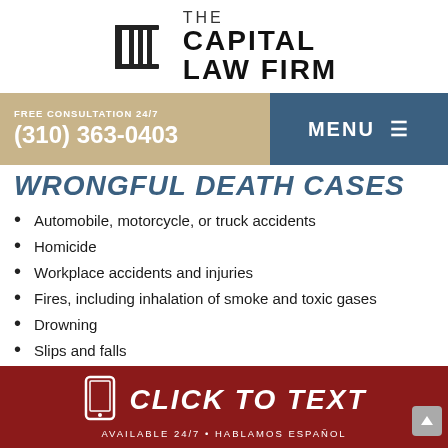[Figure (logo): The Capital Law Firm logo with a stylized column icon on the left and bold text 'THE CAPITAL LAW FIRM' on the right]
FREE CONSULTATION 24/7
(310) 363-0403
MENU ☰
WRONGFUL DEATH CASES
Automobile, motorcycle, or truck accidents
Homicide
Workplace accidents and injuries
Fires, including inhalation of smoke and toxic gases
Drowning
Slips and falls
CLICK TO TEXT
AVAILABLE 24/7 • HABLAMOS ESPAÑOL